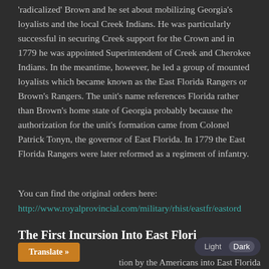'radicalized' Brown and he set about mobilizing Georgia's loyalists and the local Creek Indians. He was particularly successful in securing Creek support for the Crown and in 1779 he was appointed Superintendent of Creek and Cherokee Indians. In the meantime, however, he led a group of mounted loyalists which became known as the East Florida Rangers or Brown's Rangers. The unit's name references Florida rather than Brown's home state of Georgia probably because the authorization for the unit's formation came from Colonel Patrick Tonyn, the governor of East Florida. In 1779 the East Florida Rangers were later reformed as a regiment of infantry.
You can find the original orders here:
http://www.royalprovincial.com/military/rhist/eastfr/eastord
The First Incursion Into East Flori...
tion by the Americans into East Florida